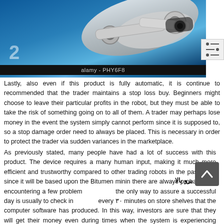[Figure (photo): A robotic arm or robot hand on a blue metallic background with the watermark label 'alamy - PHY6F8']
alamy - PHY6F8
Lastly, also even if this product is fully automatic, it is continue to recommended that the trader maintains a stop loss buy. Beginners might choose to leave their particular profits in the robot, but they must be able to take the risk of something going on to all of them. A trader may perhaps lose money in the event the system simply cannot perform since it is supposed to, so a stop damage order need to always be placed. This is necessary in order to protect the trader via sudden variances in the marketplace.
As previously stated, many people have had a lot of success with this product. The device requires a many human input, making it much more efficient and trustworthy compared to other trading robots in the past. Yet , since it will be based upon the Bitumen minin there are always probability of encountering a few problem the only way to assure a successful day is usually to check in every ۳۰ minutes on store shelves that the computer software has produced. In this way, investors are sure that they will get their money even during times when the system is experiencing problems.